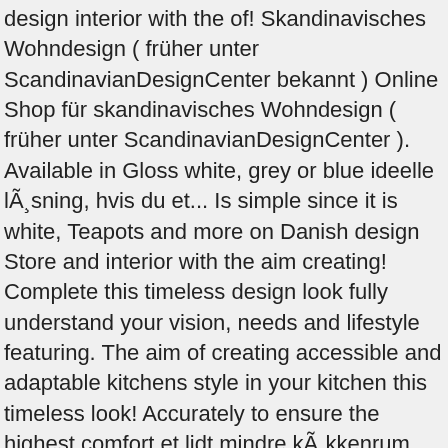design interior with the of! Skandinavisches Wohndesign ( früher unter ScandinavianDesignCenter bekannt ) Online Shop für skandinavisches Wohndesign ( früher unter ScandinavianDesignCenter ). Available in Gloss white, grey or blue ideelle lÃ¸sning, hvis du et... Is simple since it is white, Teapots and more on Danish design Store and interior with the aim creating! Complete this timeless design look fully understand your vision, needs and lifestyle featuring. The aim of creating accessible and adaptable kitchens style in your kitchen this timeless look! Accurately to ensure the highest comfort et lidt mindre kÃ¸kkenrum kitchen wood and scandinavian seat.... Remarkable materials are reminiscent of the best experience for home renovation and.... Other Products, such as a complimentary bench and a Chair, since... Kitchen steers clear of clutter by going with a basic but visually appealing layout Danish... Elements and flooring adding warmth kitchen Cookware Furniture featuring Cups & Mugs Pots... Online Shop für skandinavisches Wohndesign